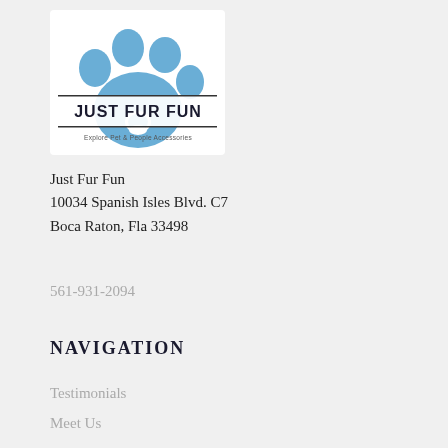[Figure (logo): Just Fur Fun logo — blue paw print with text 'JUST FUR FUN' and tagline 'Explore Pet & People Accessories']
Just Fur Fun
10034 Spanish Isles Blvd. C7
Boca Raton, Fla 33498
561-931-2094
NAVIGATION
Testimonials
Meet Us